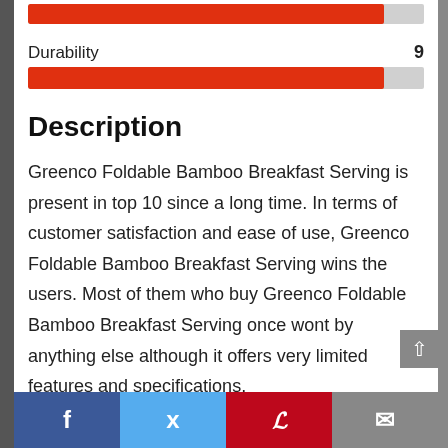[Figure (infographic): Partial rating bar (cropped at top) — red progress bar nearly full]
Durability   9
[Figure (infographic): Durability rating bar — red fill at 9/10]
Description
Greenco Foldable Bamboo Breakfast Serving is present in top 10 since a long time. In terms of customer satisfaction and ease of use, Greenco Foldable Bamboo Breakfast Serving wins the users. Most of them who buy Greenco Foldable Bamboo Breakfast Serving once wont by anything else although it offers very limited features and specifications.
[Figure (infographic): Social share footer bar with Facebook, Twitter, Pinterest, and Email icons]